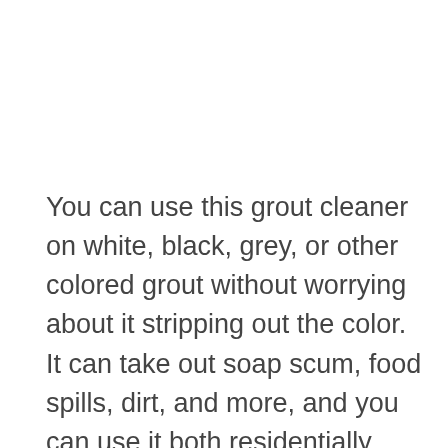You can use this grout cleaner on white, black, grey, or other colored grout without worrying about it stripping out the color. It can take out soap scum, food spills, dirt, and more, and you can use it both residentially and commercially. This is a fast-acting cleaner that allows you to clean your grout with minimal interruption to your normal routine, and the spray bottle makes application quick and easy. You shouldn't use it on painted surfaces,